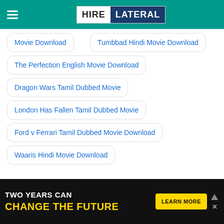HIRE LATERAL
Movie Download
Tumbbad Hindi Movie Download
The Perfection English Movie Download
Dragon Wars Tamil Dubbed Movie
London Has Fallen Tamil Dubbed Movie
Ford v Ferrari Tamil Dubbed Movie Download
Waaris Hindi Movie Download
[Figure (screenshot): Advertisement banner: TWO YEARS CAN CHANGE THE FUTURE with LEARN MORE button]